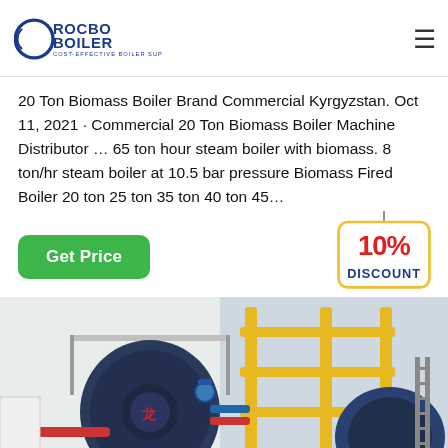ROCBO BOILER — COST-EFFECTIVE BOILER SUPPLIER
20 Ton Biomass Boiler Brand Commercial Kyrgyzstan. Oct 11, 2021 · Commercial 20 Ton Biomass Boiler Machine Distributor … 65 ton hour steam boiler with biomass. 8 ton/hr steam boiler at 10.5 bar pressure Biomass Fired Boiler 20 ton 25 ton 35 ton 40 ton 45…
[Figure (other): Get Price button (green rounded rectangle) and 10% DISCOUNT tag]
[Figure (photo): Industrial boiler equipment in a facility — large dark blue cylindrical boiler on left with red/blue piping, yellow structural pipework and steel frame on right side.]